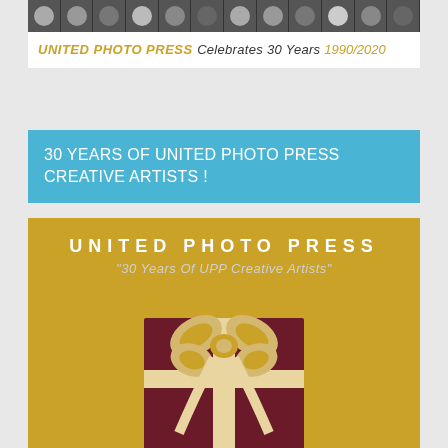[Figure (photo): Black and white photo strip showing multiple portrait headshots of people arranged in a row]
UNITED PHOTO PRESS Celebrates 30 Years 1990/2020
30 YEARS OF UNITED PHOTO PRESS CREATIVE ARTISTS !
[Figure (illustration): Gold background with UNITED PHOTO PRESS title, subtitle '30 Years Of UPP Creative Artists' and a dark red gift box wrapped with a cream/gold satin ribbon and bow]